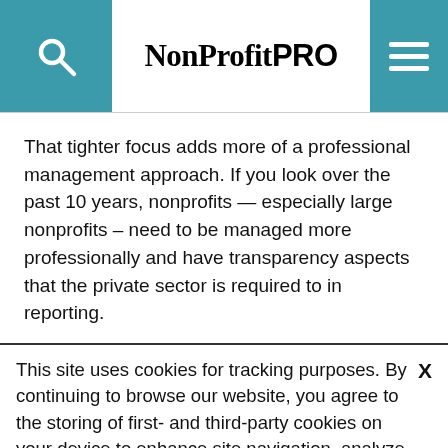NonProfit PRO
That tighter focus adds more of a professional management approach. If you look over the past 10 years, nonprofits — especially large nonprofits – need to be managed more professionally and have transparency aspects that the private sector is required to in reporting.
This site uses cookies for tracking purposes. By continuing to browse our website, you agree to the storing of first- and third-party cookies on your device to enhance site navigation, analyze site usage, and assist in our marketing and
Accept and Close
Your browser settings do not allow cross-site tracking for advertising. Click on this page to allow AdRoll to use cross-site tracking to tailor ads to you. Learn more or opt out of this AdRoll tracking by clicking here. This message only appears once.